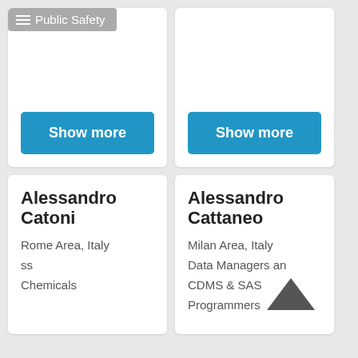[Figure (screenshot): Top-left card with 'Public Safety' tag badge and a 'Show more' blue button]
[Figure (screenshot): Top-right card with a 'Show more' blue button]
Alessandro Catoni
Rome Area, Italy
ss
Chemicals
Alessandro Cattaneo
Milan Area, Italy
Data Managers and CDMS & SAS Programmers